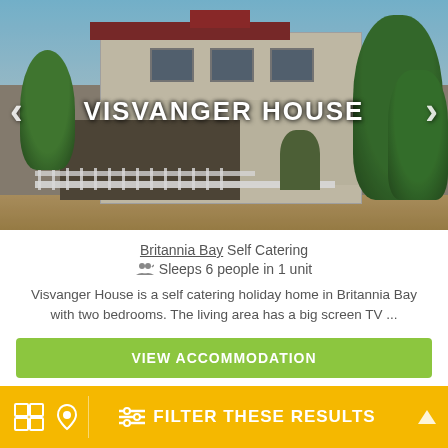[Figure (photo): Exterior photo of Visvanger House, a two-storey brick building with white fence and trees, with the property name overlaid in white text and navigation arrows]
Britannia Bay Self Catering
Sleeps 6 people in 1 unit
Visvanger House is a self catering holiday home in Britannia Bay with two bedrooms. The living area has a big screen TV ...
[Figure (infographic): Row of amenity icons: TV, WiFi Free, kitchen, Parking Free, pets, pool/water, guests]
VIEW ACCOMMODATION
FILTER THESE RESULTS